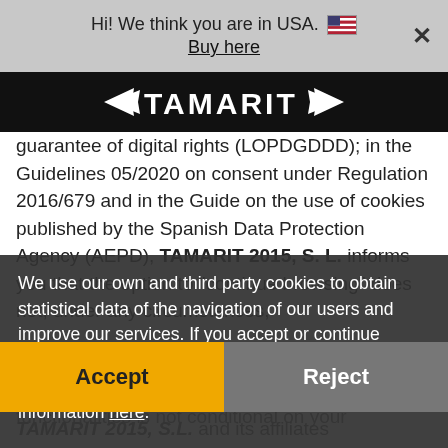Hi! We think you are in USA. 🇺🇸   Buy here   ✕
[Figure (logo): TAMARIT logo with wing chevrons on black background]
guarantee of digital rights (LOPDGDDD); in the Guidelines 05/2020 on consent under Regulation 2016/679 and in the Guide on the use of cookies published by the Spanish Data Protection Agency (AEPD), TAMARIT 2015, S. L. informs you that the option to "continue browsing" does not, under any circumstances,
We use our own and third party cookies to obtain statistical data of the navigation of our users and improve our services. If you accept or continue browsing, we consider that you accept their use. You can change the configuration or obtain more information here.
that is, access to the service and its functionalities is not conditional on your
Accept   Reject
TAMARIT 2015, S.L. and its affiliates (hereinafter, "we", "our", "us") respect